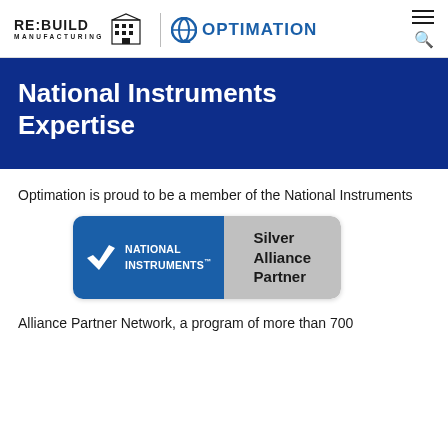[Figure (logo): RE:BUILD MANUFACTURING and OPTIMATION logos with navigation icons (hamburger menu and search)]
National Instruments Expertise
Optimation is proud to be a member of the National Instruments
[Figure (logo): National Instruments Silver Alliance Partner badge — left side blue with NI logo, right side grey with text 'Silver Alliance Partner']
Alliance Partner Network, a program of more than 700